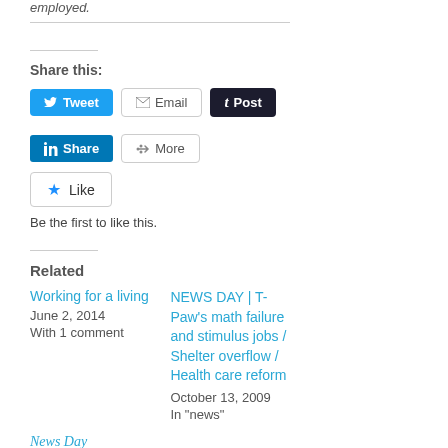employed.
AMERICAS.ORG and a recovering attorney.
Share this:
[Figure (other): Social share buttons: Tweet (blue), Email (white/gray border), Post (dark/black), LinkedIn Share (blue), More (white/gray border)]
[Figure (other): Like button with blue star icon and text 'Like']
Be the first to like this.
Related
Working for a living
June 2, 2014
With 1 comment
NEWS DAY | T-Paw's math failure and stimulus jobs / Shelter overflow / Health care reform
October 13, 2009
In "news"
News Day